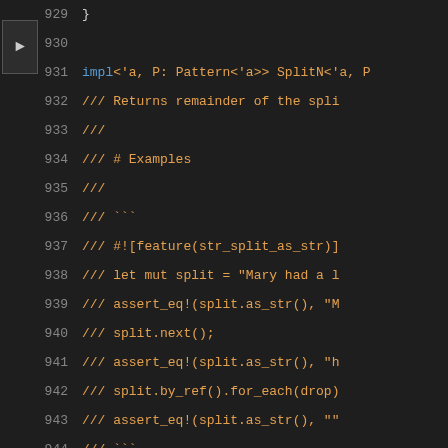Source code viewer showing Rust code lines 929-947 with doc comments, attributes, and impl block
929     }
930
931     impl<'a, P: Pattern<'a>> SplitN<'a, P
932         /// Returns remainder of the spli
933         ///
934         /// # Examples
935         ///
936         /// ```
937         /// #![feature(str_split_as_str)]
938         /// let mut split = "Mary had a l
939         /// assert_eq!(split.as_str(), "M
940         /// split.next();
941         /// assert_eq!(split.as_str(), "h
942         /// split.by_ref().for_each(drop)
943         /// assert_eq!(split.as_str(), ""
944         /// ```
945         #[inline]
946         #[unstable(feature = "str_split_a
947         ...